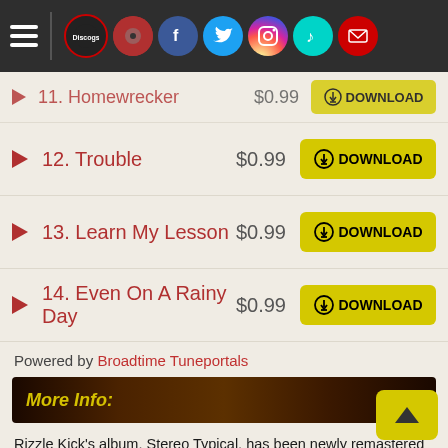Navigation bar with hamburger menu and social icons (Discogs, Facebook, Twitter, Instagram, TikTok, Mail)
11. Homewrecker  $0.99  DOWNLOAD
12. Trouble  $0.99  DOWNLOAD
13. Learn My Lesson  $0.99  DOWNLOAD
14. Even On A Rainy Day  $0.99  DOWNLOAD
Powered by Broadtime Tuneportals
More Info:
Rizzle Kick's album, Stereo Typical, has been newly remastered for 180g vinyl at Abbey Road Studios. Originally released in October 2011, it was the Brighton hip-hop duo's debut album and peaked at #5 on the U.K. Albums Chart the following February. It includes the Top 10 U.K singles, "Down with the Trumpets," "When I Was a Youngster" which was featured on the soundtrack to director Danny Boyle's opening ceremony at the 2012 London Olympic Games, and the Fatboy Slim-